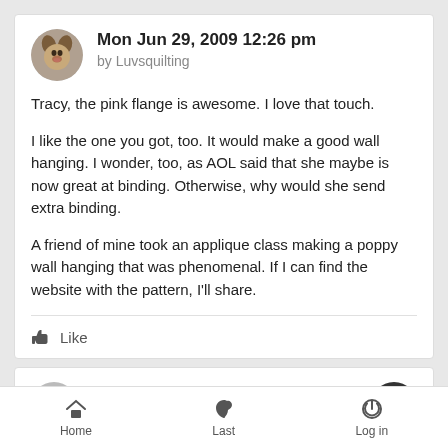Mon Jun 29, 2009 12:26 pm by Luvsquilting
Tracy, the pink flange is awesome. I love that touch.

I like the one you got, too. It would make a good wall hanging. I wonder, too, as AOL said that she maybe is now great at binding. Otherwise, why would she send extra binding.

A friend of mine took an applique class making a poppy wall hanging that was phenomenal. If I can find the website with the pattern, I'll share.
Like
by Sponsored content
Home    Last    Log in